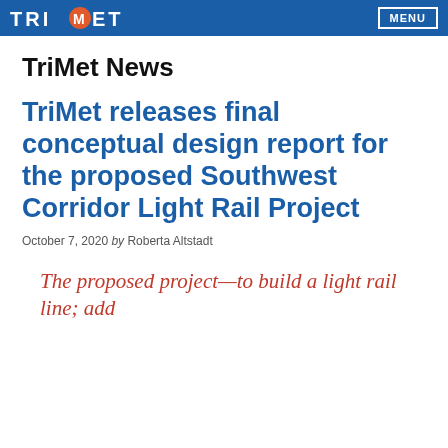TriMet MENU
TriMet News
TriMet releases final conceptual design report for the proposed Southwest Corridor Light Rail Project
October 7, 2020 by Roberta Altstadt
The proposed project—to build a light rail line; add